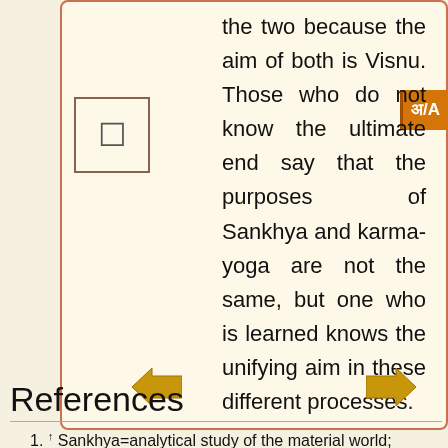the two because the aim of both is Visnu. Those who do not know the ultimate end say that the purposes of Sankhya and karma-yoga are not the same, but one who is learned knows the unifying aim in these different processes.
References
1. ↑ Sankhya=analytical study of the material world; yogau=work in devotional service; prthak=different; bäläh=the less intelligent; pravadanti=say; na—never;